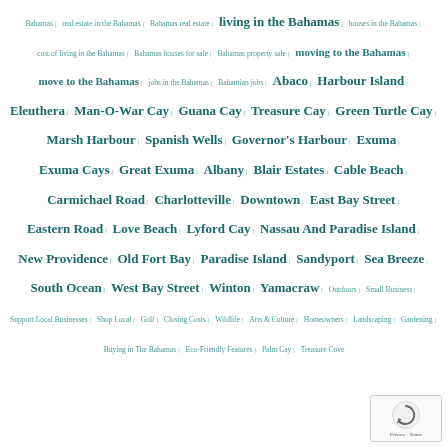Bahamas | real estate in the Bahamas | Bahamas real estate | living in the Bahamas | houses in the Bahamas | cost of living in the Bahamas | Bahamas houses for sale | Bahamas property sale | moving to the Bahamas | move to the Bahamas | jobs in the Bahamas | Bahamian jobs | Abaco | Harbour Island | Eleuthera | Man-O-War Cay | Guana Cay | Treasure Cay | Green Turtle Cay | Marsh Harbour | Spanish Wells | Governor's Harbour | Exuma | Exuma Cays | Great Exuma | Albany | Blair Estates | Cable Beach | Carmichael Road | Charlotteville | Downtown | East Bay Street | Eastern Road | Love Beach | Lyford Cay | Nassau And Paradise Island | New Providence | Old Fort Bay | Paradise Island | Sandyport | Sea Breeze | South Ocean | West Bay Street | Winton | Yamacraw | Outdoors | Small Business | Support Local Businesses | Shop Local | Golf | Closing Costs | Wildlife | Arts & Culture | Homeowners | Landscaping | Gardening | Buying in The Bahamas | Eco-Friendly Features | Palm Cay | Treasure Cove
[Figure (other): reCAPTCHA privacy widget showing circular arrow icon and Privacy - Terms text]